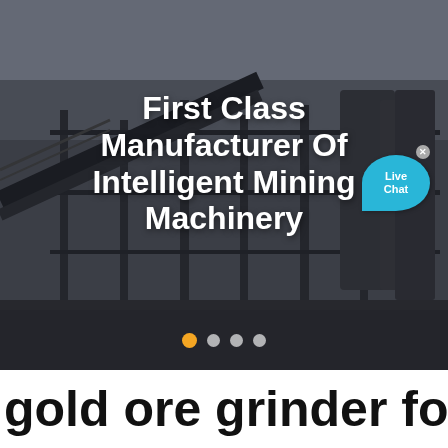[Figure (photo): Industrial mining facility with steel framework, conveyor belts, and large silos under a grey sky. Overlay text reads 'First Class Manufacturer Of Intelligent Mining Machinery'. A 'Live Chat' bubble appears in the upper right. Pagination dots are shown at the bottom of the image (first dot is orange/active, three white dots follow).]
gold ore grinder for